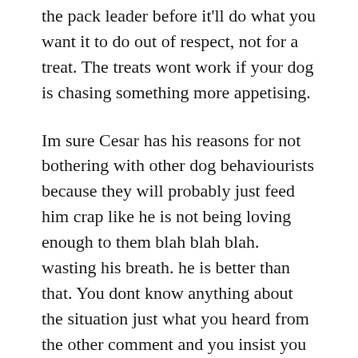the pack leader before it'll do what you want it to do out of respect, not for a treat. The treats wont work if your dog is chasing something more appetising.
Im sure Cesar has his reasons for not bothering with other dog behaviourists because they will probably just feed him crap like he is not being loving enough to them blah blah blah. wasting his breath. he is better than that. You dont know anything about the situation just what you heard from the other comment and you insist you know it all. You wont get anywhere with gentleness if a dog is trying to attack another dog, he is being firm and not displaying animal cruelty... give me a break.